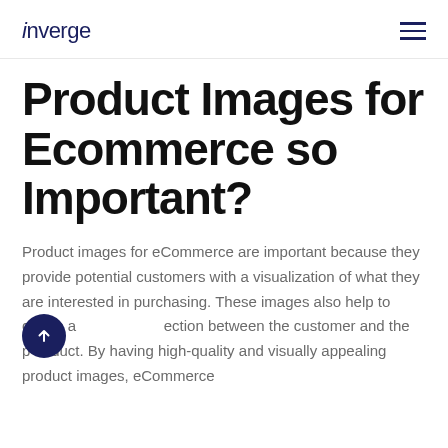inverge
Product Images for Ecommerce so Important?
Product images for eCommerce are important because they provide potential customers with a visualization of what they are interested in purchasing. These images also help to create a connection between the customer and the product. By having high-quality and visually appealing product images, eCommerce